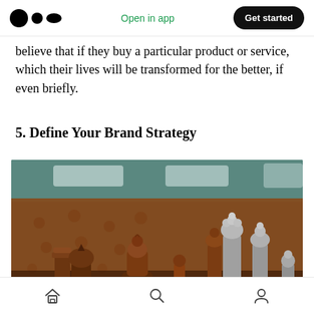Medium app navigation bar with logo, 'Open in app', and 'Get started' button
believe that if they buy a particular product or service, which their lives will be transformed for the better, if even briefly.
5. Define Your Brand Strategy
[Figure (photo): A photograph of chess pieces — several brown wooden and grey stone chess figures arranged on a board, with a blurred brown tufted leather background and blurred architectural elements behind. The figures include queens, bishops, and pawns in close-up.]
Bottom navigation bar with home, search, and profile icons